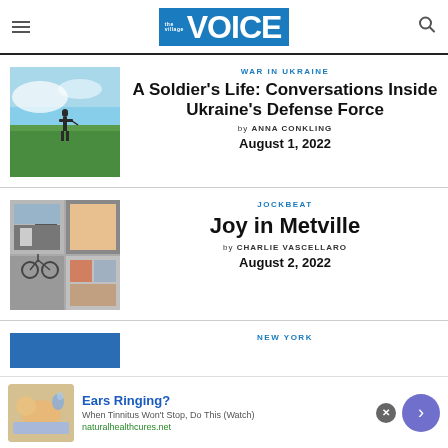The Village Voice
WAR IN UKRAINE
[Figure (photo): Soldier standing in a green field under blue sky]
A Soldier's Life: Conversations Inside Ukraine's Defense Force
by ANNA CONKLING
August 1, 2022
JOCKBEAT
[Figure (photo): Collage of street/store photos]
Joy in Metville
by CHARLIE VASCELLARO
August 2, 2022
NEW YORK
[Figure (photo): Advertisement banner: Ears Ringing? When Tinnitus Won't Stop, Do This (Watch). naturalhealthcures.net]
Ears Ringing?
When Tinnitus Won't Stop, Do This (Watch)
naturalhealthcures.net